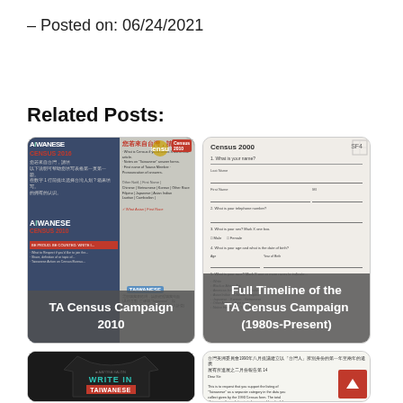– Posted on: 06/24/2021
Related Posts:
[Figure (photo): TA Census Campaign 2010 - image showing Taiwanese Census 2010 campaign materials with Chinese text and Census 2010 branding. Card labeled 'TA Census Campaign 2010']
[Figure (photo): Census 2000 form image showing form fields and questions. Card labeled 'Full Timeline of the TA Census Campaign (1980s-Present)']
[Figure (photo): Black t-shirt with 'WRITE IN TAIWANESE' text in teal and white/red colors]
[Figure (photo): Letter or document with Chinese header text and English body text about Taiwanese census campaign]